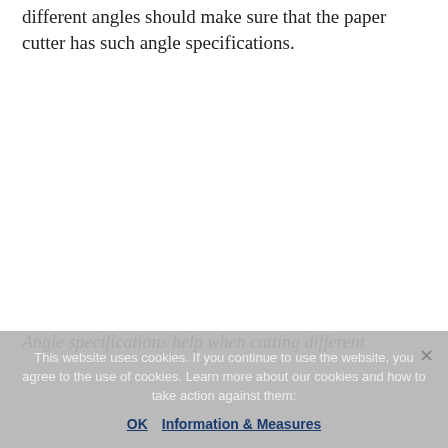different angles should make sure that the paper cutter has such angle specifications.
Angle specifications help when cutting different
This website uses cookies. If you continue to use the website, you agree to the use of cookies. Learn more about our cookies and how to take action against them: OK  Information & Measures